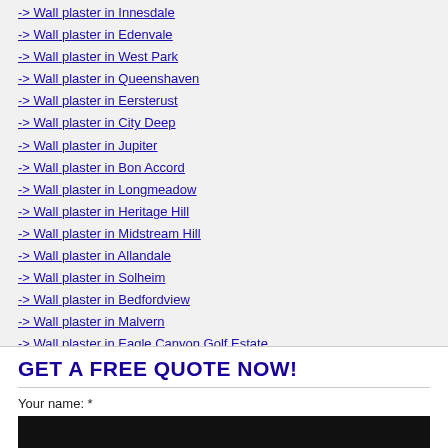-> Wall plaster in Innesdale
-> Wall plaster in Edenvale
-> Wall plaster in West Park
-> Wall plaster in Queenshaven
-> Wall plaster in Eersterust
-> Wall plaster in City Deep
-> Wall plaster in Jupiter
-> Wall plaster in Bon Accord
-> Wall plaster in Longmeadow
-> Wall plaster in Heritage Hill
-> Wall plaster in Midstream Hill
-> Wall plaster in Allandale
-> Wall plaster in Solheim
-> Wall plaster in Bedfordview
-> Wall plaster in Malvern
-> Wall plaster in Eagle Canyon Golf Estate
-> Wall plaster in Birnam
GET A FREE QUOTE NOW!
Your name: *